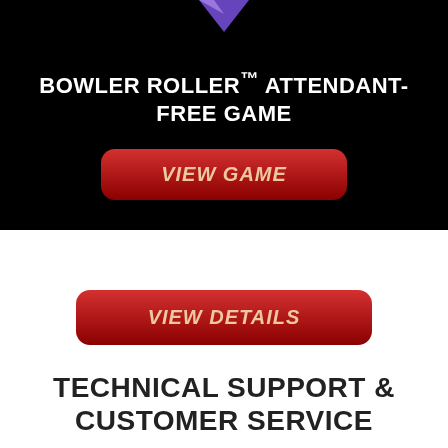[Figure (logo): Purple diamond/arrow shape pointing down at top center]
BOWLER ROLLER™ ATTENDANT-FREE GAME
VIEW GAME
VIEW DETAILS
TECHNICAL SUPPORT & CUSTOMER SERVICE